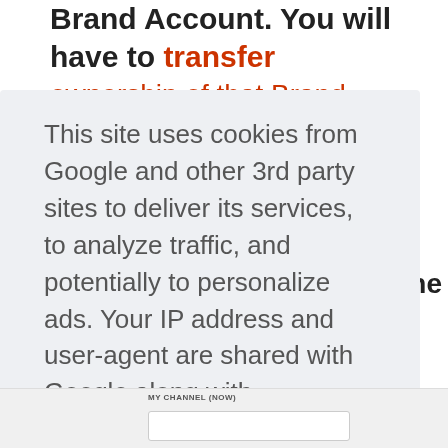Brand Account. You will have to transfer ownership of that Brand Account, at least
This site uses cookies from Google and other 3rd party sites to deliver its services, to analyze traffic, and potentially to personalize ads. Your IP address and user-agent are shared with Google along with performance and security metrics to ensure quality of service, generate usage statistics, detect and address abuse, and to improve Google products. Click "Learn more" to learn how your data is used, and change your cookie and privacy settings. By using this site, you agree to its use of cookies and other data.
Learn more
Got it!